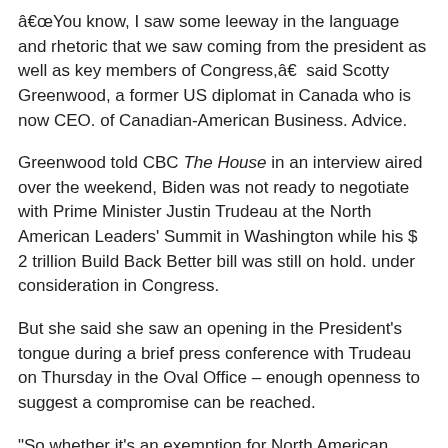â€œYou know, I saw some leeway in the language and rhetoric that we saw coming from the president as well as key members of Congress,â€  said Scotty Greenwood, a former US diplomat in Canada who is now CEO. of Canadian-American Business. Advice.
Greenwood told CBC The House in an interview aired over the weekend, Biden was not ready to negotiate with Prime Minister Justin Trudeau at the North American Leaders' Summit in Washington while his $ 2 trillion Build Back Better bill was still on hold. under consideration in Congress.
But she said she saw an opening in the President's tongue during a brief press conference with Trudeau on Thursday in the Oval Office – enough openness to suggest a compromise can be reached.
“So whether it's an exemption for North American vehicles made by unions or something like that, that allows the president to continue to reach out to his base – unionized workers – or to a other technical detail, I think there is a way to get through it, â€ she said.
US President Joe Biden delivers remarks after visiting General